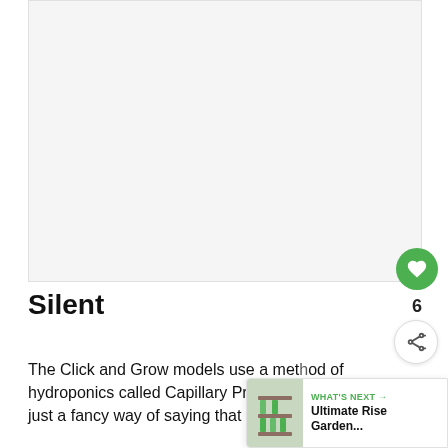[Figure (photo): Large blank/white image placeholder area]
Silent
The Click and Grow models use a method of hydroponics called Capillary Precision Irrigation. This is just a fancy way of saying that a string